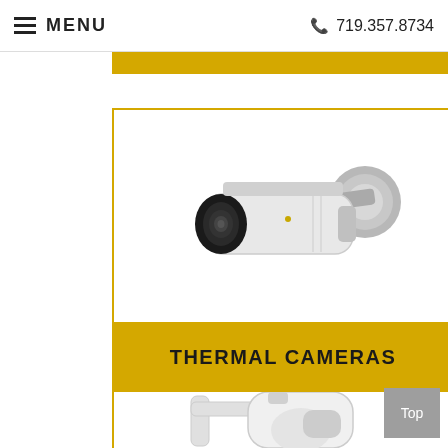MENU  719.357.8734
[Figure (photo): Thermal bullet camera mounted on wall bracket, white body with black lens]
THERMAL CAMERAS
[Figure (photo): PTZ camera on wall mount, white, partial view at bottom of page]
Top